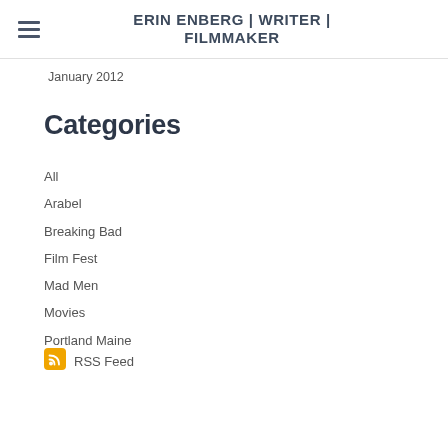ERIN ENBERG | WRITER | FILMMAKER
January 2012
Categories
All
Arabel
Breaking Bad
Film Fest
Mad Men
Movies
Portland Maine
RSS Feed